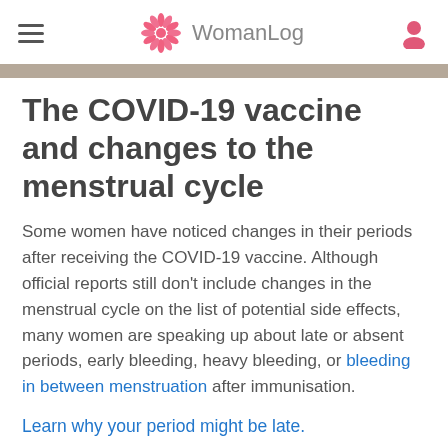WomanLog
The COVID-19 vaccine and changes to the menstrual cycle
Some women have noticed changes in their periods after receiving the COVID-19 vaccine. Although official reports still don't include changes in the menstrual cycle on the list of potential side effects, many women are speaking up about late or absent periods, early bleeding, heavy bleeding, or bleeding in between menstruation after immunisation.
Learn why your period might be late.
Experts say that it's challenging to make a clear link between the vaccine and the menstrual cycle so